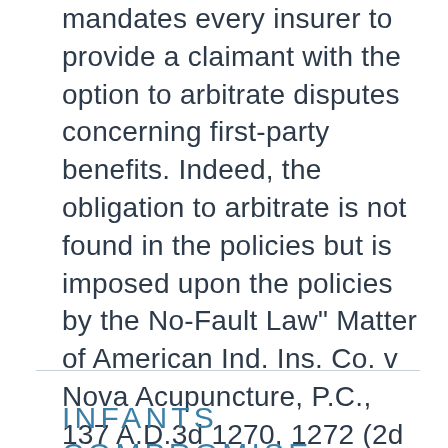mandates every insurer to provide a claimant with the option to arbitrate disputes concerning first-party benefits. Indeed, the obligation to arbitrate is not found in the policies but is imposed upon the policies by the No-Fault Law" Matter of American Ind. Ins. Co. v Nova Acupuncture, P.C., 137 A.D.3d 1270, 1272 (2d Dep,. 2018)
I guess Oleg should put on his Arbitration hat and leave Room 809 in Civil Court, Kings County for this one.
INFANTS COMPROMISE